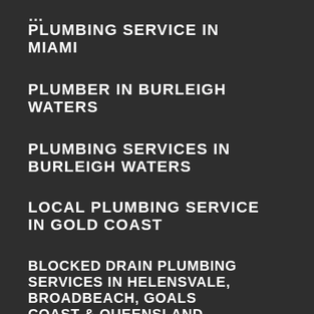PLUMBING SERVICE IN MIAMI
PLUMBER IN BURLEIGH WATERS
PLUMBING SERVICES IN BURLEIGH WATERS
LOCAL PLUMBING SERVICE IN GOLD COAST
BLOCKED DRAIN PLUMBING SERVICES IN HELENSVALE, BROADBEACH, GOALS COAST & QUEENSLAND
HOT WATER PLUMBER IN HIGHLAND PARK